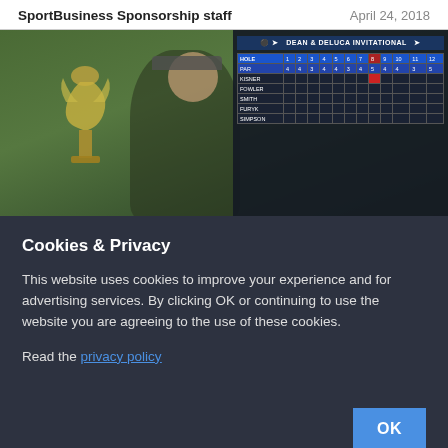SportBusiness Sponsorship staff | April 24, 2018
[Figure (photo): Golfer holding trophy with Dean & DeLuca Invitational scoreboard visible in background]
Cookies & Privacy
This website uses cookies to improve your experience and for advertising services. By clicking OK or continuing to use the website you are agreeing to the use of these cookies.
Read the privacy policy
OK